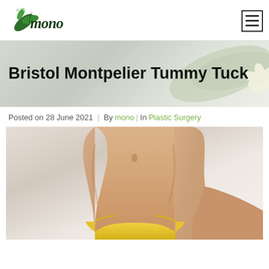Mono
Bristol Montpelier Tummy Tuck
Posted on 28 June 2021 | By mono | In Plastic Surgery
[Figure (photo): Photo of a slim woman's midsection wearing a yellow bikini bottom, showing a flat toned stomach, hand on hip, against a light beige background.]